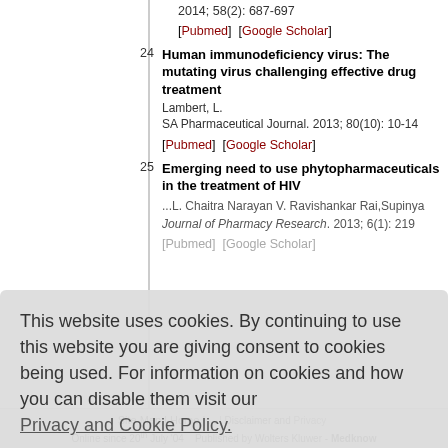2014; 58(2): 687-697
[Pubmed]  [Google Scholar]
24. Human immunodeficiency virus: The mutating virus challenging effective drug treatment. Lambert, L. SA Pharmaceutical Journal. 2013; 80(10): 10-14. [Pubmed] [Google Scholar]
25. Emerging need to use phytopharmaceuticals in the treatment of HIV. L. Chaitra Narayan V. Ravishankar Rai, Supinya. Journal of Pharmacy Research. 2013; 6(1): 219. [Pubmed] [Google Scholar]
This website uses cookies. By continuing to use this website you are giving consent to cookies being used. For information on cookies and how you can disable them visit our Privacy and Cookie Policy.
AGREE & PROCEED
Site Map | Home | ... | Privacy
Policy
Online since 20th July '04
Published by Wolters Kluwer - Medknow